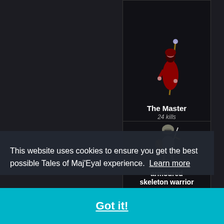[Figure (screenshot): Game screenshot showing 'The Master' character card with a robed figure holding a staff, labeled '24 kills']
The Master
24 kills
[Figure (screenshot): Game screenshot showing 'armoured skeleton warrior' character card with armored skeleton figure]
armoured skeleton warrior
This website uses cookies to ensure you get the best possible Tales of Maj'Eyal experience.  Learn more
Got it!